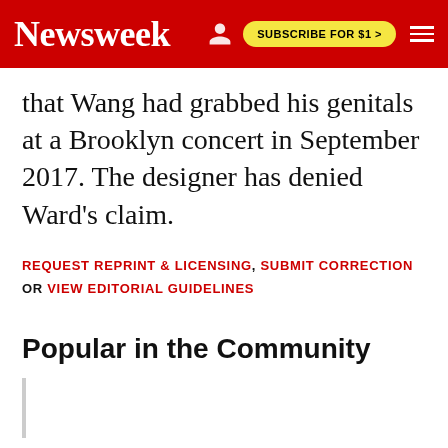Newsweek  SUBSCRIBE FOR $1 >
that Wang had grabbed his genitals at a Brooklyn concert in September 2017. The designer has denied Ward's claim.
REQUEST REPRINT & LICENSING, SUBMIT CORRECTION OR VIEW EDITORIAL GUIDELINES
Popular in the Community